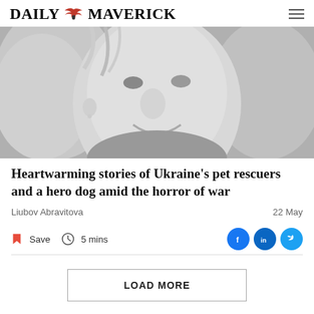DAILY MAVERICK
[Figure (photo): Black and white close-up photo of a smiling woman with curly blonde hair]
Heartwarming stories of Ukraine's pet rescuers and a hero dog amid the horror of war
Liubov Abravitova
22 May
Save  5 mins
LOAD MORE